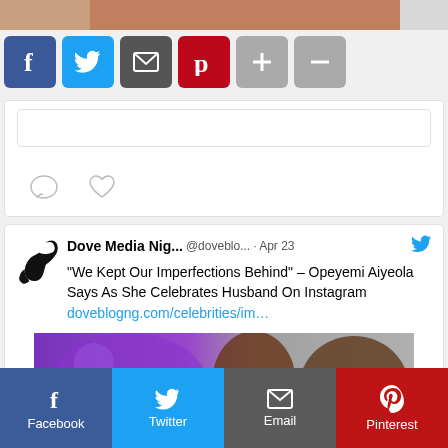[Figure (screenshot): Top partial image strip showing a photo]
[Figure (infographic): Social share buttons row: Facebook (blue), Twitter (light blue), Email (dark grey), Pinterest (red), Plus (grey), Minus (grey)]
[Figure (screenshot): Comment input area with reply/like icons (speech bubble and heart)]
[Figure (screenshot): Tweet from Dove Media Nig... @doveblo... Apr 23 - We Kept Our Imperfections Behind Opeyemi Aiyeola Says As She Celebrates Husband On Instagram with link doveblogng.com/celebrities/im... and couple photo]
— Recent Posts
[Figure (infographic): Bottom share bar with Facebook, Twitter, Email, Pinterest buttons]